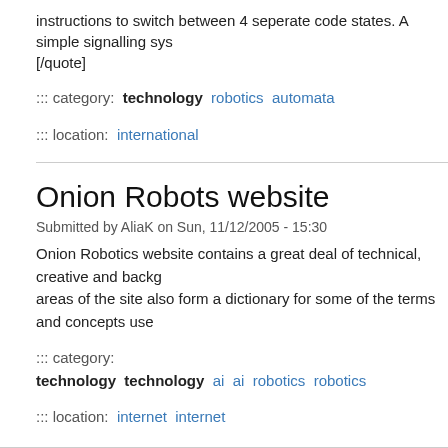instructions to switch between 4 seperate code states. A simple signalling sys... [/quote]
::: category:  technology   robotics   automata
::: location:  international
Onion Robots website
Submitted by AliaK on Sun, 11/12/2005 - 15:30
Onion Robotics website contains a great deal of technical, creative and backg... areas of the site also form a dictionary for some of the terms and concepts use...
::: category:  technology   technology   ai   ai   robotics   robotics
::: location:  internet   internet